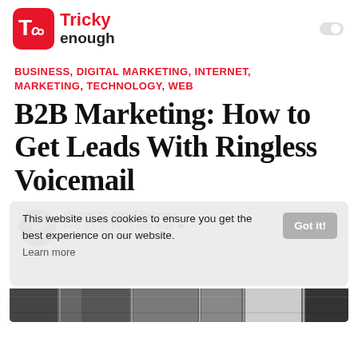[Figure (logo): Tricky Enough logo — red rounded square with 'Tc' icon and 'Tricky enough' text]
BUSINESS, DIGITAL MARKETING, INTERNET, MARKETING, TECHNOLOGY, WEB
B2B Marketing: How to Get Leads With Ringless Voicemail
Written by Abdul Rehman
Feb 20, 2019 · 3 min read ★
This website uses cookies to ensure you get the best experience on our website.
Learn more
[Figure (photo): Bottom portion of an article hero image showing an office/work scene]